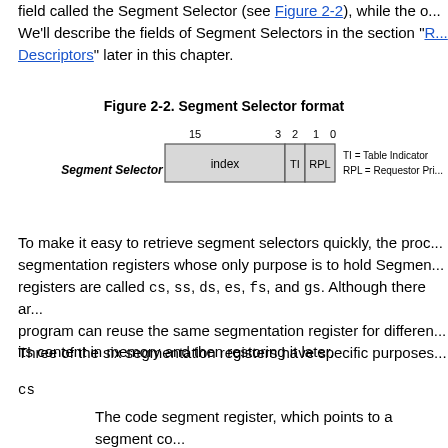field called the Segment Selector (see Figure 2-2), while the o... We'll describe the fields of Segment Selectors in the section "R... Descriptors" later in this chapter.
Figure 2-2. Segment Selector format
[Figure (schematic): Segment Selector format diagram showing a 16-bit field divided into: index (bits 15-3), TI (bit 2), RPL (bits 1-0). Labels: TI = Table Indicator, RPL = Requestor Pri...]
To make it easy to retrieve segment selectors quickly, the proc... segmentation registers whose only purpose is to hold Segmen... registers are called cs, ss, ds, es, fs, and gs. Although there ar... program can reuse the same segmentation register for differen... its content in memory and then restoring it later.
Three of the six segmentation registers have specific purposes...
cs
The code segment register, which points to a segment co... instructions